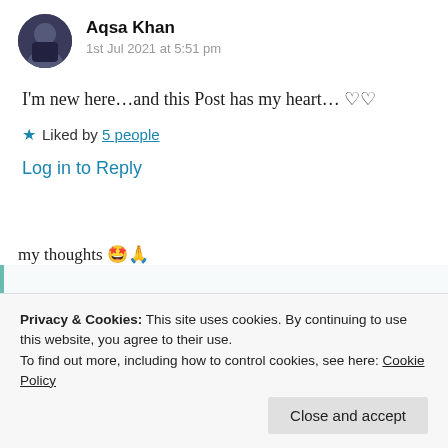Aqsa Khan
1st Jul 2021 at 5:51 pm
I'm new here…and this Post has my heart… ♡♡
★ Liked by 5 people
Log in to Reply
Suma Reddy
my thoughts 🤩🙏
Privacy & Cookies: This site uses cookies. By continuing to use this website, you agree to their use.
To find out more, including how to control cookies, see here: Cookie Policy
Close and accept